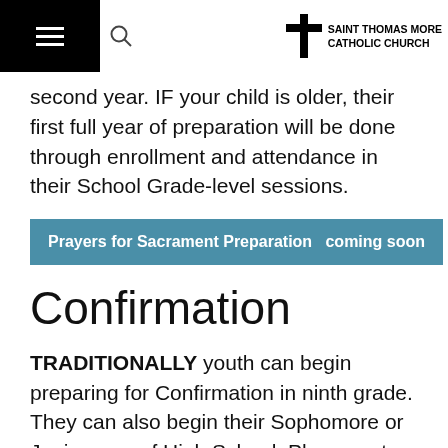Saint Thomas More Catholic Church
second year. IF your child is older, their first full year of preparation will be done through enrollment and attendance in their School Grade-level sessions.
Prayers for Sacrament Preparation  coming soon
Confirmation
TRADITIONALLY youth can begin preparing for Confirmation in ninth grade. They can also begin their Sophomore or Junior year of High School. Please note that Sacrament Preparation for Confirmation is...